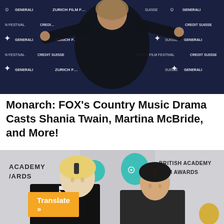[Figure (photo): Person in black outfit posing with arms raised at Zurich Film Festival backdrop with Mercedes-Benz, Generali, Credit Suisse, and Zurich Film Festival logos]
Monarch: FOX's Country Music Drama Casts Shania Twain, Martina McBride, and More!
[Figure (photo): Two people smiling at British Academy Film Awards (BAFTA) event — a young man with blonde hair in a tuxedo and a woman with dark hair]
Translate »